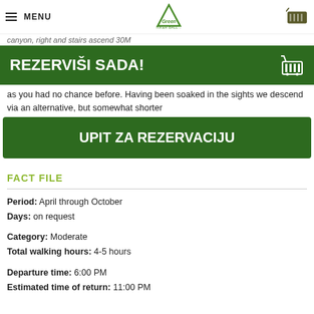MENU | Green [logo] | [cart icon]
canyon, right and stairs ascend 30M
REZERVIŠI SADA!
as you had no chance before. Having been soaked in the sights we descend via an alternative, but somewhat shorter
UPIT ZA REZERVACIJU
FACT FILE
Period: April through October
Days: on request
Category: Moderate
Total walking hours: 4-5 hours
Departure time: 6:00 PM
Estimated time of return: 11:00 PM